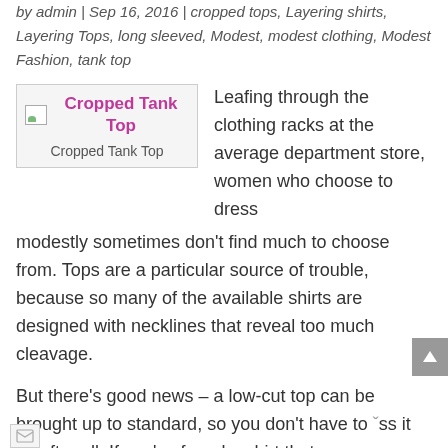by admin | Sep 16, 2016 | cropped tops, Layering shirts, Layering Tops, long sleeved, Modest, modest clothing, Modest Fashion, tank top
[Figure (illustration): Image placeholder with broken image icon showing 'Cropped Tank Top' title in pink/magenta and caption 'Cropped Tank Top' below]
Leafing through the clothing racks at the average department store, women who choose to dress modestly sometimes don't find much to choose from. Tops are a particular source of trouble, because so many of the available shirts are designed with necklines that reveal too much cleavage.
But there's good news – a low-cut top can be brought up to standard, so you don't have to pass it by after all. If you've found a shirt that